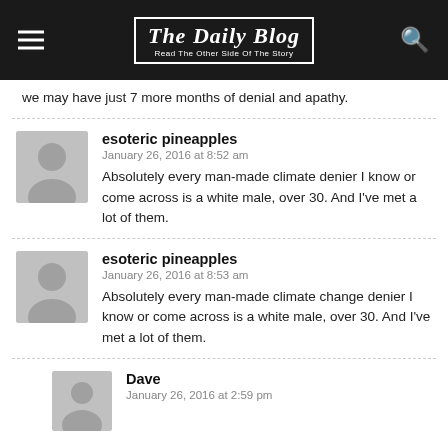The Daily Blog — Read The Other Side Of The Story
we may have just 7 more months of denial and apathy.
esoteric pineapples
January 26, 2016 at 8:52 am
Absolutely every man-made climate denier I know or come across is a white male, over 30. And I've met a lot of them.
esoteric pineapples
January 26, 2016 at 8:53 am
Absolutely every man-made climate change denier I know or come across is a white male, over 30. And I've met a lot of them.
Dave
January 26, 2016 at 2:59 pm